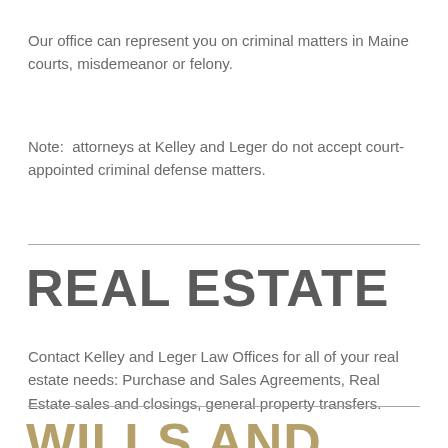Our office can represent you on criminal matters in Maine courts, misdemeanor or felony.
Note:  attorneys at Kelley and Leger do not accept court-appointed criminal defense matters.
REAL ESTATE
Contact Kelley and Leger Law Offices for all of your real estate needs: Purchase and Sales Agreements, Real Estate sales and closings, general property transfers.
WILLS AND